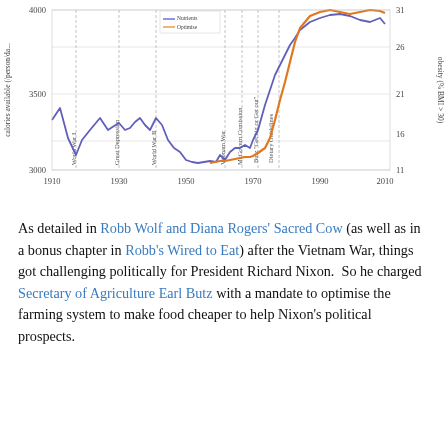[Figure (continuous-plot): Dual-axis line chart showing calories available per person per day (left y-axis, 3000-4000+) and obesity % BMI>30 (right y-axis, 11-31) from 1910 to 2010. Two lines: blue/purple for calories, orange for obesity. Vertical annotations mark World War I, Great Depression, World War II, Vietnam War, McGovern Commission, Butz 'Get big or Get out', Dietary Guidelines. A legend shows 'Nutrients Optimise'.]
As detailed in Robb Wolf and Diana Rogers' Sacred Cow (as well as in a bonus chapter in Robb's Wired to Eat) after the Vietnam War, things got challenging politically for President Richard Nixon.  So he charged Secretary of Agriculture Earl Butz with a mandate to optimise the farming system to make food cheaper to help Nixon's political prospects.